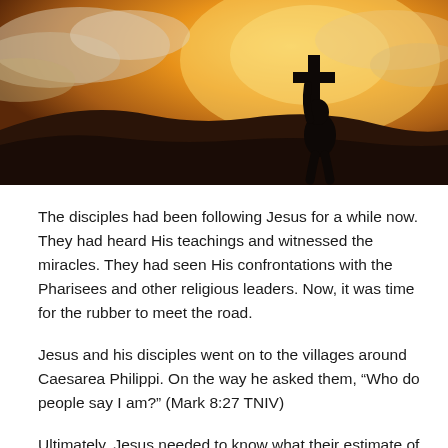[Figure (photo): Silhouette of a person carrying a large cross on a hilltop against a dramatic orange and golden sunset sky with clouds]
The disciples had been following Jesus for a while now. They had heard His teachings and witnessed the miracles. They had seen His confrontations with the Pharisees and other religious leaders. Now, it was time for the rubber to meet the road.
Jesus and his disciples went on to the villages around Caesarea Philippi. On the way he asked them, “Who do people say I am?” (Mark 8:27 TNIV)
Ultimately, Jesus needed to know what their estimate of